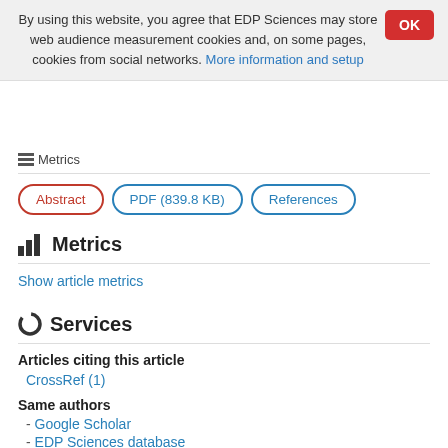By using this website, you agree that EDP Sciences may store web audience measurement cookies and, on some pages, cookies from social networks. More information and setup
Metrics
Show article metrics
Services
Articles citing this article
CrossRef (1)
Same authors
- Google Scholar
- EDP Sciences database